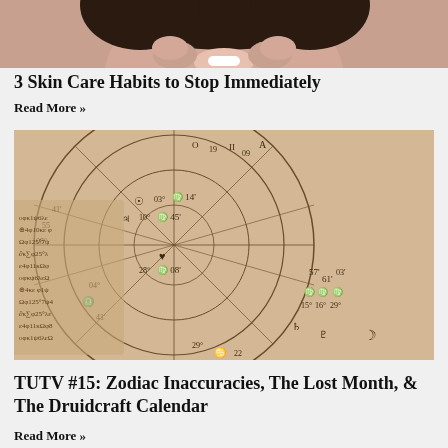[Figure (photo): Partial photo of a person smiling, cropped at the top of the page, showing face and hands near chin]
3 Skin Care Habits to Stop Immediately
Read More »
[Figure (photo): Close-up photo of an astrology zodiac wheel/birth chart with zodiac symbols, degrees, and handwritten-style markings on tan/beige paper]
TUTV #15: Zodiac Inaccuracies, The Lost Month, & The Druidcraft Calendar
Read More »